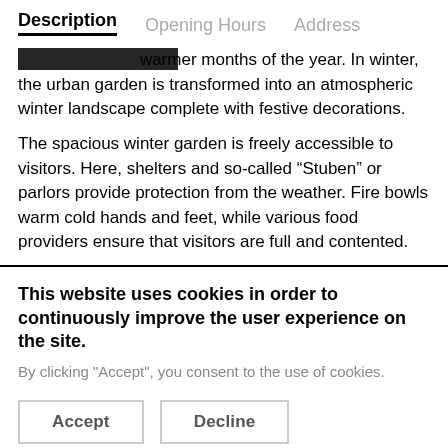Description  Opening Hours  Address
warmer months of the year. In winter, the urban garden is transformed into an atmospheric winter landscape complete with festive decorations.
The spacious winter garden is freely accessible to visitors. Here, shelters and so-called “Studen” or parlors provide protection from the weather. Fire bowls warm cold hands and feet, while various food providers ensure that visitors are full and contented.
This website uses cookies in order to continuously improve the user experience on the site. By clicking "Accept", you consent to the use of cookies.
Accept
Decline